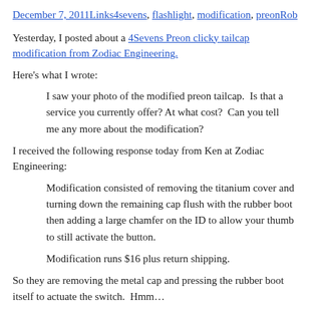December 7, 2011Links4sevens, flashlight, modification, preonRob
Yesterday, I posted about a 4Sevens Preon clicky tailcap modification from Zodiac Engineering.
Here's what I wrote:
I saw your photo of the modified preon tailcap.  Is that a service you currently offer? At what cost?  Can you tell me any more about the modification?
I received the following response today from Ken at Zodiac Engineering:
Modification consisted of removing the titanium cover and turning down the remaining cap flush with the rubber boot then adding a large chamfer on the ID to allow your thumb to still activate the button.
Modification runs $16 plus return shipping.
So they are removing the metal cap and pressing the rubber boot itself to actuate the switch.  Hmm…